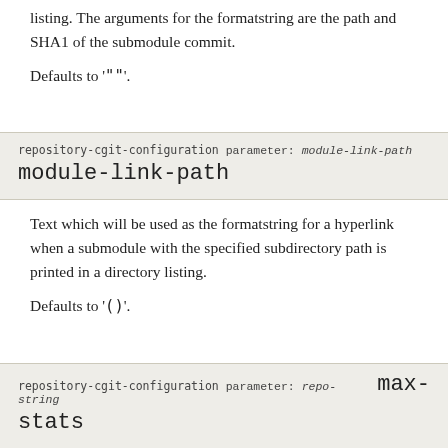listing. The arguments for the formatstring are the path and SHA1 of the submodule commit.
Defaults to '""".
repository-cgit-configuration parameter: module-link-path
module-link-path
Text which will be used as the formatstring for a hyperlink when a submodule with the specified subdirectory path is printed in a directory listing.
Defaults to '()'.
repository-cgit-configuration parameter: repo-string  max-stats
Override the default maximum statistics period.